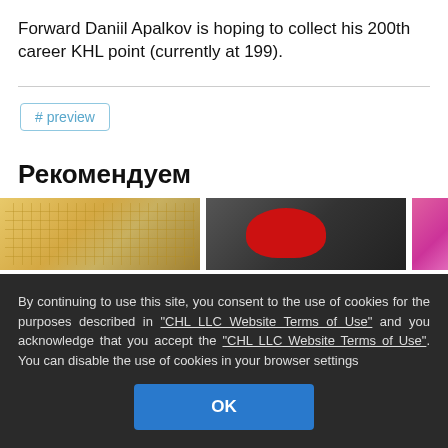Forward Daniil Apalkov is hoping to collect his 200th career KHL point (currently at 199).
# preview
Рекомендуем
[Figure (photo): Three cropped thumbnail images in a row: a yellow hockey net mesh, a red CCM hockey helmet on dark background, and a pink circular object.]
By continuing to use this site, you consent to the use of cookies for the purposes described in "CHL LLC Website Terms of Use" and you acknowledge that you accept the "CHL LLC Website Terms of Use". You can disable the use of cookies in your browser settings
OK